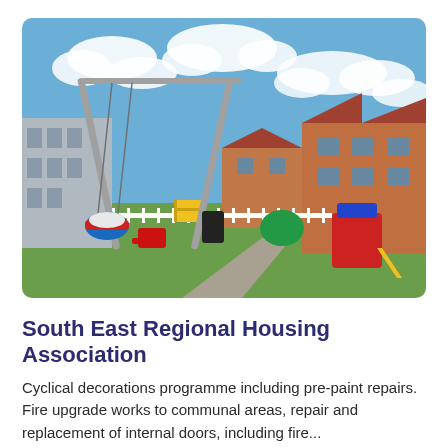[Figure (photo): Outdoor children's playground with a swing set in the foreground, colorful play equipment in the background, green grass, white fence, brick residential buildings, and blue sky with white clouds.]
South East Regional Housing Association
Cyclical decorations programme including pre-paint repairs. Fire upgrade works to communal areas, repair and replacement of internal doors, including fire...